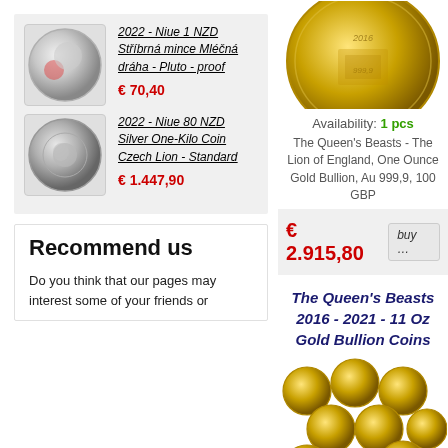[Figure (photo): Silver coin thumbnail - 2022 Niue 1 NZD Mléčná dráha Pluto proof]
2022 - Niue 1 NZD Stříbrná mince Mléčná dráha - Pluto - proof
€ 70,40
[Figure (photo): Silver coin thumbnail - 2022 Niue 80 NZD Silver One-Kilo Coin Czech Lion Standard]
2022 - Niue 80 NZD Silver One-Kilo Coin Czech Lion - Standard
€ 1.447,90
Recommend us
Do you think that our pages may interest some of your friends or
[Figure (photo): Gold coin - Queen's Beasts Lion of England bullion coin top portion]
Availability: 1 pcs
The Queen's Beasts - The Lion of England, One Ounce Gold Bullion, Au 999,9, 100 GBP
€ 2.915,80
The Queen's Beasts 2016 - 2021 - 11 Oz Gold Bullion Coins
[Figure (photo): Multiple gold Queen's Beasts bullion coins arranged together]